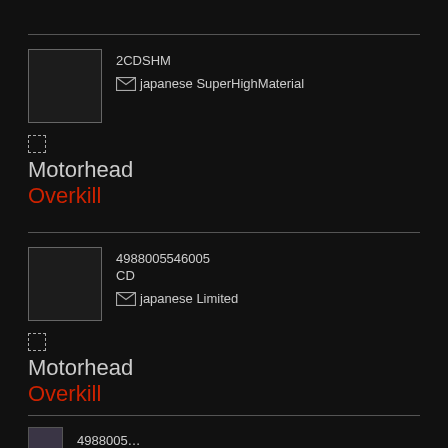[Figure (other): Album thumbnail placeholder (dark square with border)]
2CDSHM
japanese SuperHighMaterial
Motorhead
Overkill
[Figure (other): Album thumbnail placeholder (dark square with border)]
4988005546005
CD
japanese Limited
Motorhead
Overkill
[Figure (screenshot): Partial album artwork thumbnail visible at bottom]